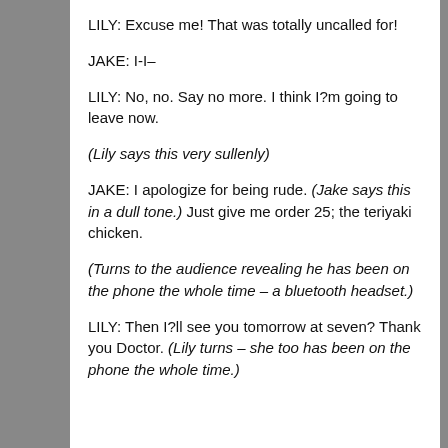LILY: Excuse me! That was totally uncalled for!
JAKE: I-I–
LILY: No, no. Say no more. I think I?m going to leave now.
(Lily says this very sullenly)
JAKE: I apologize for being rude. (Jake says this in a dull tone.) Just give me order 25; the teriyaki chicken.
(Turns to the audience revealing he has been on the phone the whole time – a bluetooth headset.)
LILY: Then I?ll see you tomorrow at seven? Thank you Doctor. (Lily turns – she too has been on the phone the whole time.)